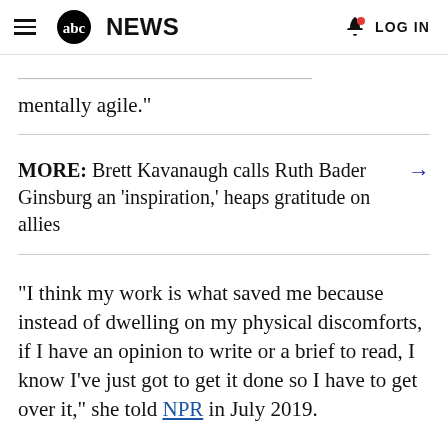abc NEWS  LOG IN
...continue to stave... mentally agile."
MORE: Brett Kavanaugh calls Ruth Bader Ginsburg an 'inspiration,' heaps gratitude on allies →
"I think my work is what saved me because instead of dwelling on my physical discomforts, if I have an opinion to write or a brief to read, I know I've just got to get it done so I have to get over it," she told NPR in July 2019.